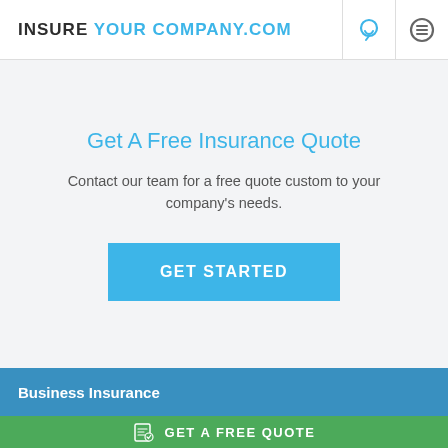INSURE YOUR COMPANY.COM
Get A Free Insurance Quote
Contact our team for a free quote custom to your company's needs.
GET STARTED
Business Insurance
GET A FREE QUOTE